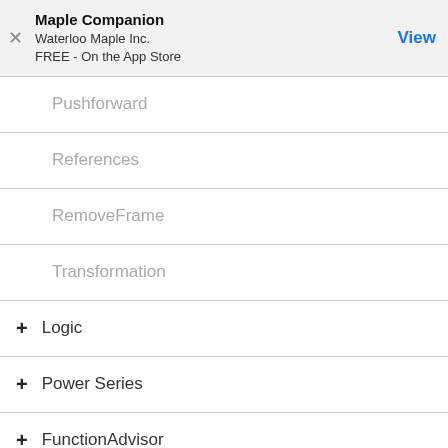Maple Companion
Waterloo Maple Inc.
FREE - On the App Store
Pushforward
References
RemoveFrame
Transformation
+ Logic
+ Power Series
+ FunctionAdvisor
+ Group Theory
+ Inert Functions